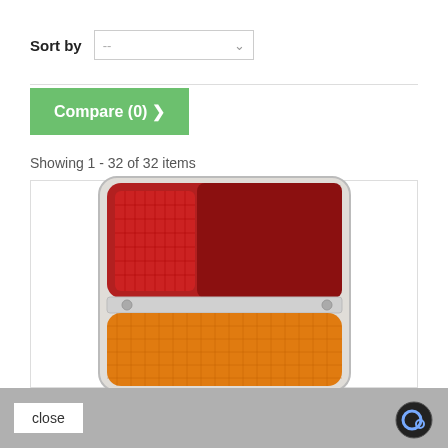Sort by  --
Compare (0) >
Showing 1 - 32 of 32 items
[Figure (photo): Photograph of a vintage car tail light assembly with red upper section and amber/orange lower section, chrome divider bar, on a wooden surface]
close